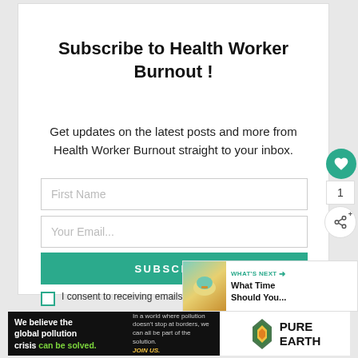Subscribe to Health Worker Burnout !
Get updates on the latest posts and more from Health Worker Burnout straight to your inbox.
[Figure (infographic): Web subscription form with First Name input field, Your Email input field, SUBSCRIBE button in teal/green, and a consent checkbox with text 'I consent to receiving emails and personali...' Also includes floating heart/like button with count 1, share button, and a What's Next banner showing 'What Time Should You...']
[Figure (infographic): Pure Earth advertisement banner at the bottom: black background left side with text 'We believe the global pollution crisis can be solved.' and 'In a world where pollution doesn't stop at borders, we can all be part of the solution. JOIN US.' White right side with Pure Earth diamond logo and PURE EARTH text.]